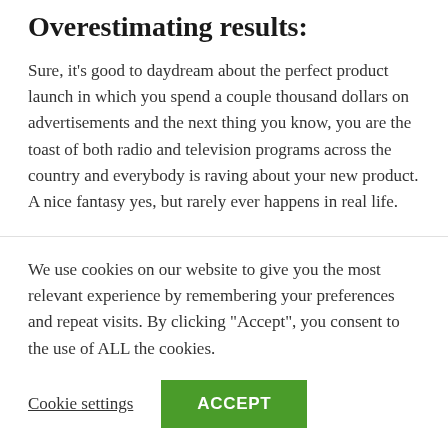Overestimating results:
Sure, it's good to daydream about the perfect product launch in which you spend a couple thousand dollars on advertisements and the next thing you know, you are the toast of both radio and television programs across the country and everybody is raving about your new product. A nice fantasy yes, but rarely ever happens in real life.
Not delegating (attempting to do everything yourself):
We use cookies on our website to give you the most relevant experience by remembering your preferences and repeat visits. By clicking "Accept", you consent to the use of ALL the cookies.